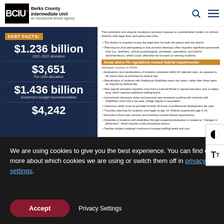BCIU - Berks County Intermediate Unit - an educational service agency
[Figure (infographic): FAST FACTS infographic with statistics: $1.236 billion (2021-2022 allocation), $3,651 (Per child allocation), $1.436 billion (Governor's budget recommendation), $4,242. Right side lists areas where PA regulations exceed federal requirements including evaluations, reevaluations, teacher certifications, aide requirements, professional development, transition planning, extended school year services, and discipline policies.]
We are using cookies to give you the best experience. You can find out more about which cookies we are using or switch them off in privacy settings.
Accept
Privacy Settings